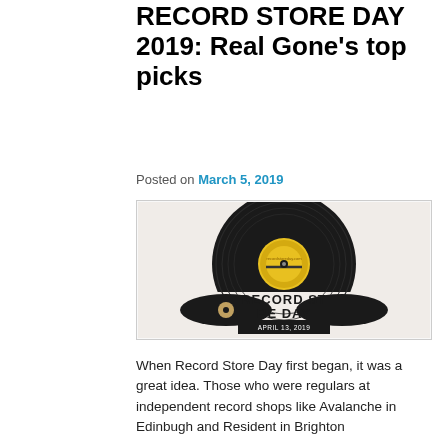RECORD STORE DAY 2019: Real Gone's top picks
Posted on March 5, 2019
[Figure (illustration): Record Store Day 2019 promotional image showing a vinyl record with a yellow label and 'RECORD STORE DAY APRIL 13, 2019' text below]
When Record Store Day first began, it was a great idea. Those who were regulars at independent record shops like Avalanche in Edinbugh and Resident in Brighton